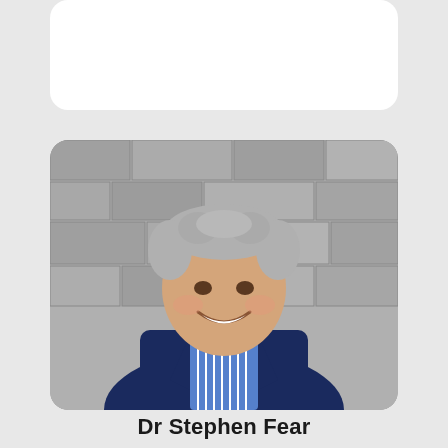[Figure (photo): White rounded card at the top of the page, partially visible, no visible content]
[Figure (photo): Professional headshot of Dr Stephen Fear, a middle-aged man with curly grey hair, smiling, wearing a dark navy blazer over a blue and white striped shirt, photographed against a stone wall background]
Dr Stephen Fear